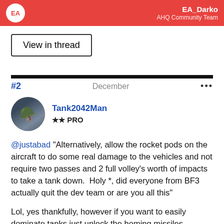EA_Darko — AHQ Community Team
View in thread
#2    December   •••
Tank2042Man ★★ PRO
@justabad "Alternatively, allow the rocket pods on the aircraft to do some real damage to the vehicles and not require two passes and 2 full volley's worth of impacts to take a tank down.  Holy *, did everyone from BF3 actually quit the dev team or are you all this"
Lol, yes thankfully, however if you want to easily dominate tanks just unlock the homing missiles.
You'll have no problems taking out tanks, it's pretty